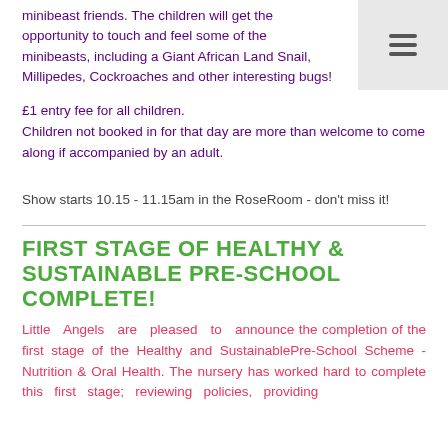minibeast friends. The children will get the opportunity to touch and feel some of the minibeasts, including a Giant African Land Snail, Millipedes, Cockroaches and other interesting bugs!
£1 entry fee for all children.
Children not booked in for that day are more than welcome to come along if accompanied by an adult.
Show starts 10.15 - 11.15am in the RoseRoom - don't miss it!
FIRST STAGE OF HEALTHY & SUSTAINABLE PRE-SCHOOL COMPLETE!
Little Angels are pleased to announce the completion of the first stage of the Healthy and SustainablePre-School Scheme - Nutrition & Oral Health. The nursery has worked hard to complete this first stage; reviewing policies, providing